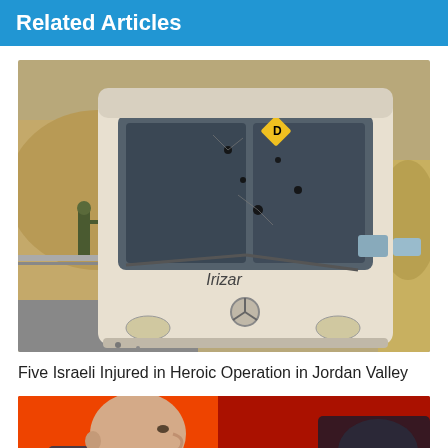Related Articles
[Figure (photo): A white Irizar Mercedes-Benz bus with bullet holes in the windshield, stopped on a road with a soldier visible to the left and arid hills in the background.]
Five Israeli Injured in Heroic Operation in Jordan Valley
[Figure (photo): A bald man in profile view against a red and dark background, appearing to be in a studio or interview setting.]